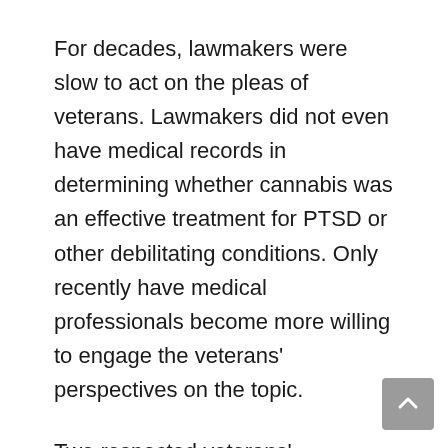For decades, lawmakers were slow to act on the pleas of veterans. Lawmakers did not even have medical records in determining whether cannabis was an effective treatment for PTSD or other debilitating conditions. Only recently have medical professionals become more willing to engage the veterans' perspectives on the topic.
Two respected veterans' organizations — the Veterans of Foreign Wars (VFW) and the Iraq and Afghanistan Veterans of America (IAVA) — have issued a joint